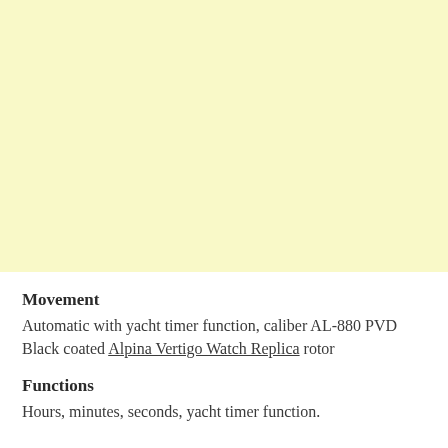[Figure (photo): Large light yellow/cream colored background area occupying the top portion of the page]
Movement
Automatic with yacht timer function, caliber AL-880 PVD Black coated Alpina Vertigo Watch Replica rotor
Functions
Hours, minutes, seconds, yacht timer function.